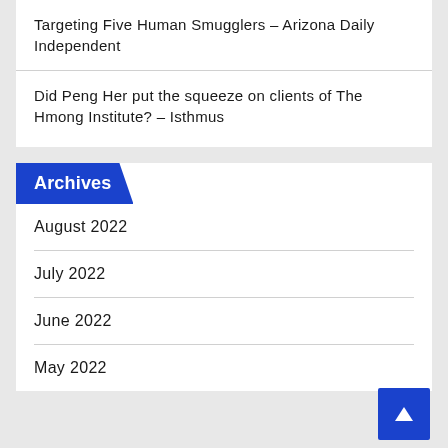Targeting Five Human Smugglers – Arizona Daily Independent
Did Peng Her put the squeeze on clients of The Hmong Institute? – Isthmus
Archives
August 2022
July 2022
June 2022
May 2022